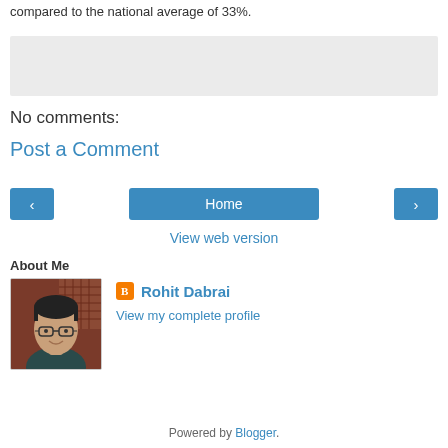compared to the national average of 33%.
[Figure (other): Gray placeholder box (ad or image placeholder)]
No comments:
Post a Comment
[Figure (other): Navigation row with left arrow button, Home button, and right arrow button]
View web version
About Me
[Figure (photo): Profile photo of Rohit Dabrai — man with glasses smiling]
Rohit Dabrai
View my complete profile
Powered by Blogger.